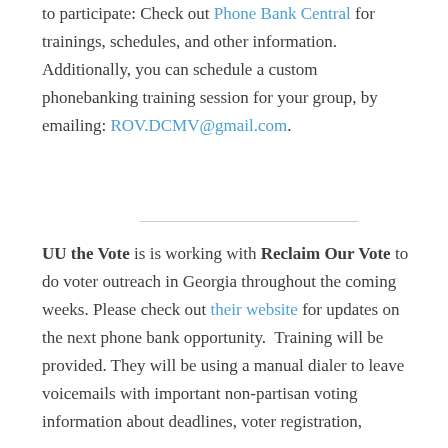to participate: Check out Phone Bank Central for trainings, schedules, and other information. Additionally, you can schedule a custom phonebanking training session for your group, by emailing: ROV.DCMV@gmail.com.
UU the Vote is is working with Reclaim Our Vote to do voter outreach in Georgia throughout the coming weeks. Please check out their website for updates on the next phone bank opportunity.  Training will be provided. They will be using a manual dialer to leave voicemails with important non-partisan voting information about deadlines, voter registration,